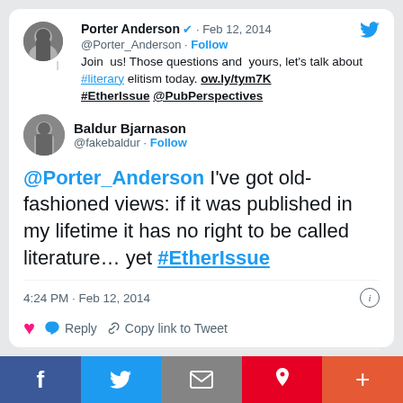Porter Anderson @Porter_Anderson · Feb 12, 2014 · Follow
Join  us! Those questions and  yours, let's talk about #literary elitism today. ow.ly/tym7K #EtherIssue @PubPerspectives
Baldur Bjarnason @fakebaldur · Follow
@Porter_Anderson I've got old-fashioned views: if it was published in my lifetime it has no right to be called literature… yet #EtherIssue
4:24 PM · Feb 12, 2014
Reply   Copy link to Tweet
Explore what's happening on Twitter
f  Twitter Share  Mail  Pinterest  More